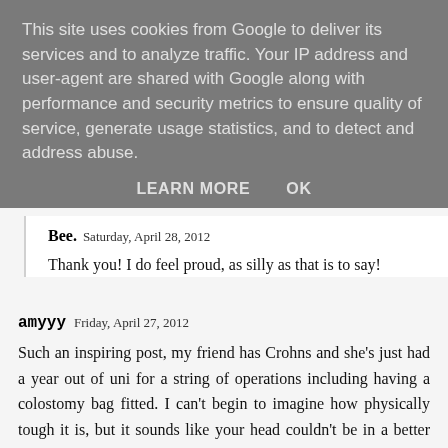This site uses cookies from Google to deliver its services and to analyze traffic. Your IP address and user-agent are shared with Google along with performance and security metrics to ensure quality of service, generate usage statistics, and to detect and address abuse.
LEARN MORE    OK
Bee.  Saturday, April 28, 2012
Thank you! I do feel proud, as silly as that is to say!
amyyy  Friday, April 27, 2012
Such an inspiring post, my friend has Crohns and she's just had a year out of uni for a string of operations including having a colostomy bag fitted. I can't begin to imagine how physically tough it is, but it sounds like your head couldn't be in a better place to